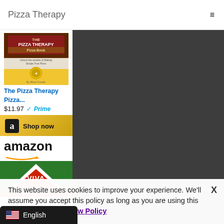Pizza Therapy
[Figure (screenshot): Book cover for The Pizza Therapy Pizza Book]
The Pizza Therapy Pizza...
$11.97 Prime
Shop now
[Figure (logo): Amazon logo with arrow]
[Figure (photo): Viva La Pizza product image - green background with red and white pizza slice logo]
This website uses cookies to improve your experience. We'll assume you accept this policy as long as you are using this website  Accept  View Policy